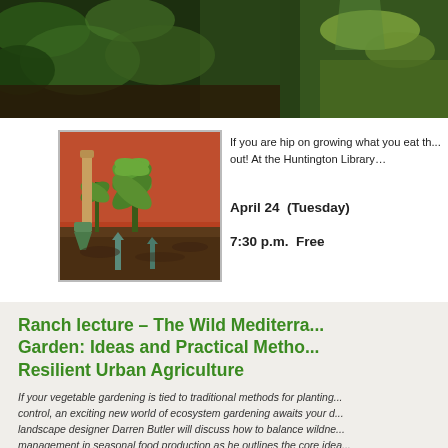[Figure (photo): Top banner with dark green garden/plants background and shovel imagery]
[Figure (photo): Garden image showing green plants, a wooden handle shovel, and small blue/green garden markers in soil]
If you are hip on growing what you eat th... out! At the Huntington Library…
April 24  (Tuesday)
7:30 p.m.  Free
Ranch lecture – The Wild Mediterra... Garden: Ideas and Practical Metho... Resilient Urban Agriculture
If your vegetable gardening is tied to traditional methods for planting... control, an exciting new world of ecosystem gardening awaits your d... landscape designer Darren Butler will discuss how to balance wildne... management in seasonal food production as he outlines the core idea...